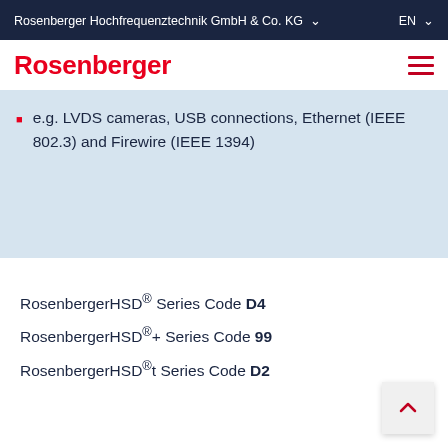Rosenberger Hochfrequenztechnik GmbH & Co. KG  EN
Rosenberger
e.g. LVDS cameras, USB connections, Ethernet (IEEE 802.3) and Firewire (IEEE 1394)
RosenbergerHSD® Series Code D4
RosenbergerHSD®+ Series Code 99
RosenbergerHSD®t Series Code D2